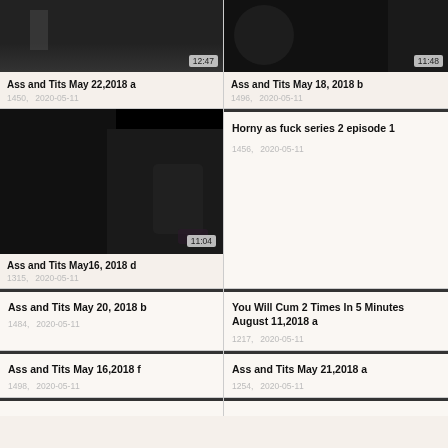[Figure (photo): Video thumbnail dark scene, duration 12:47]
Ass and Tits May 22,2018 a
1450,   2020-05-11
[Figure (photo): Video thumbnail dark close-up, duration 11:48]
Ass and Tits May 18, 2018 b
1496,   2020-05-11
[Figure (photo): Video thumbnail dark scene with figure, duration 11:04]
Ass and Tits May16, 2018 d
1315,   2020-05-11
Horny as fuck series 2 episode 1
1456,   2020-05-11
Ass and Tits May 20, 2018 b
1484,   2020-05-11
You Will Cum 2 Times In 5 Minutes August 11,2018 a
1217,   2020-05-11
Ass and Tits May 16,2018 f
1498,   2020-05-11
Ass and Tits May 21,2018 a
1254,   2020-05-11